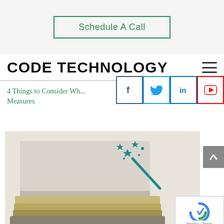Schedule A Call
CODE TECHNOLOGY
4 Things to Consider Wh... Measures
[Figure (screenshot): Social media share icons: Facebook (blue border), Twitter (light blue border), LinkedIn (dark blue border), YouTube (red border)]
[Figure (photo): Stack of books on a desk with a magic wand icon overlay, light background]
[Figure (other): reCAPTCHA widget with Privacy and Terms text]